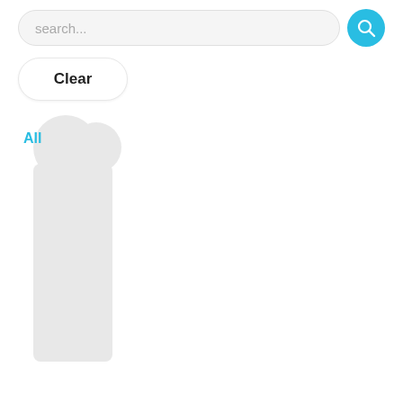search...
Clear
All
[Figure (illustration): A gray human silhouette (person icon) composed of overlapping rounded circles for the head and a rounded rectangle for the body, shown below a search bar and Clear button UI element.]